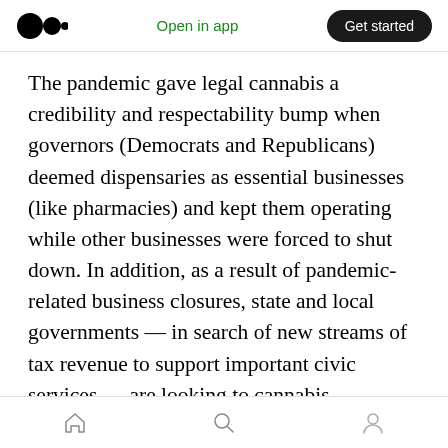Open in app | Get started
The pandemic gave legal cannabis a credibility and respectability bump when governors (Democrats and Republicans) deemed dispensaries as essential businesses (like pharmacies) and kept them operating while other businesses were forced to shut down. In addition, as a result of pandemic-related business closures, state and local governments — in search of new streams of tax revenue to support important civic services — are looking to cannabis businesses in a new light: as a component of their economic recovery. It's my
Home | Search | Profile